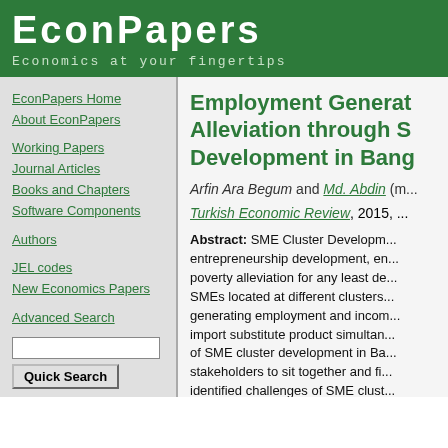EconPapers
Economics at your fingertips
EconPapers Home
About EconPapers
Working Papers
Journal Articles
Books and Chapters
Software Components
Authors
JEL codes
New Economics Papers
Advanced Search
EconPapers FAQ
Archive maintainers FAQ
Cookies at EconPapers
Format for printing
Employment Generat... Alleviation through S... Development in Bang...
Arfin Ara Begum and Md. Abdin (m...
Turkish Economic Review, 2015, ...
Abstract: SME Cluster Development... entrepreneurship development, e... poverty alleviation for any least de... SMEs located at different clusters... generating employment and incom... import substitute product simultan... of SME cluster development in Ba... stakeholders to sit together and fi... identified challenges of SME clust... could be catalyst to enhance proc... quality, acceptability, market linka... Bangladesh. The action plan is de... year), Mid-term (3-5 years) and L... recommendations for fostering...